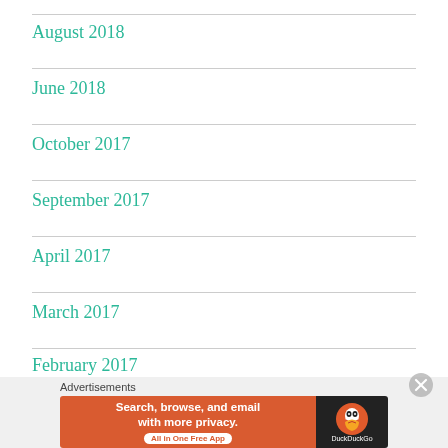August 2018
June 2018
October 2017
September 2017
April 2017
March 2017
February 2017
[Figure (screenshot): DuckDuckGo advertisement banner: 'Search, browse, and email with more privacy. All in One Free App' with DuckDuckGo logo on dark background.]